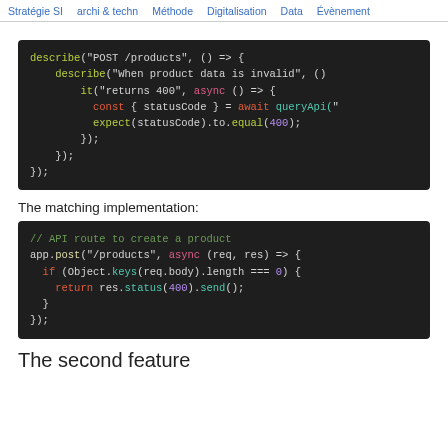Stratégie SI  archi & techn  Méthode  Digitalisation  Data  Évènement
[Figure (screenshot): Code block showing a describe/it test in JavaScript with syntax highlighting on dark background. describe('POST /products', () => { describe('When product data is invalid', () ... it('returns 400', async () => { const { statusCode } = await queryApi('... expect(statusCode).to.equal(400); }); }); });]
The matching implementation:
[Figure (screenshot): Code block showing API route implementation in JavaScript with syntax highlighting on dark background. // API route to create a product app.post('/products', async (req, res) => { if (Object.keys(req.body).length === 0) { return res.status(400).send(); } });]
The second feature